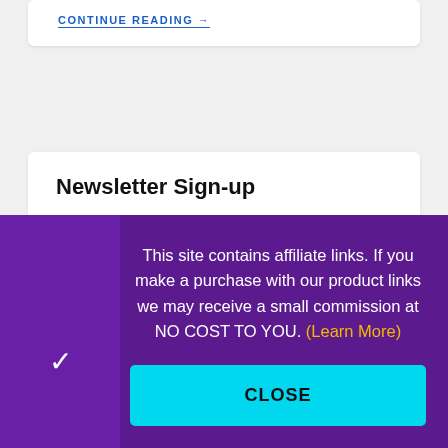CONTINUE READING →
Newsletter Sign-up
First Name
This site contains affiliate links. If you make a purchase with our product links we may receive a small commission at NO COST TO YOU. (Learn More)
CLOSE